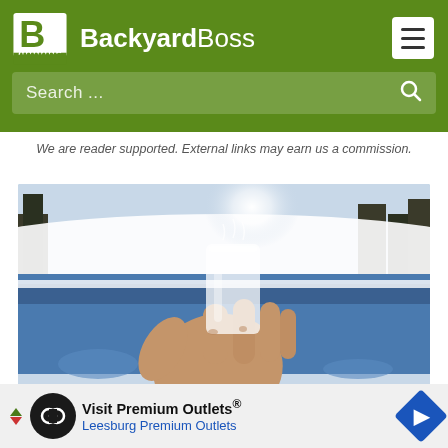BackyardBoss
We are reader supported. External links may earn us a commission.
[Figure (photo): A person holding up a glass of water or drink in front of a steaming hot tub outdoors in a snowy winter backyard, with trees in the background and bright sunlight visible.]
Visit Premium Outlets® Leesburg Premium Outlets